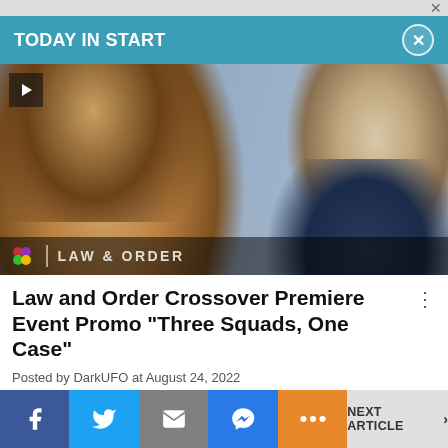TODAY IN START
[Figure (screenshot): Video thumbnail showing two people (a woman with highlighted hair in the foreground and a bald man in a suit in the background) from Law & Order, with NBC logo and LAW & ORDER text watermark at bottom]
Law and Order Crossover Premiere Event Promo "Three Squads, One Case"
Posted by DarkUFO at August 24, 2022
[Figure (screenshot): Partial thumbnail of next article]
NEXT ARTICLE >